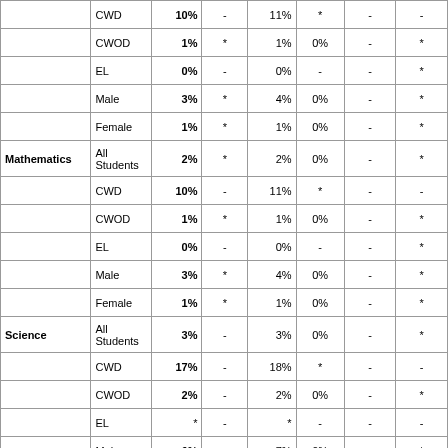| Subject | Group | Col1 | Col2 | Col3 | Col4 | Col5 | Col6 |
| --- | --- | --- | --- | --- | --- | --- | --- |
|  | CWD | 10% | - | 11% | * | - | - |
|  | CWOD | 1% | * | 1% | 0% | - | * |
|  | EL | 0% | - | 0% | - | - | * |
|  | Male | 3% | * | 4% | 0% | - | * |
|  | Female | 1% | * | 1% | 0% | - | * |
| Mathematics | All Students | 2% | * | 2% | 0% | - | * |
|  | CWD | 10% | - | 11% | * | - | - |
|  | CWOD | 1% | * | 1% | 0% | - | * |
|  | EL | 0% | - | 0% | - | - | * |
|  | Male | 3% | * | 4% | 0% | - | * |
|  | Female | 1% | * | 1% | 0% | - | * |
| Science | All Students | 3% | - | 3% | 0% | - | * |
|  | CWD | 17% | - | 18% | * | - | - |
|  | CWOD | 2% | - | 2% | 0% | - | * |
|  | EL | * | - | * | - | - | - |
|  | Male | 6% | - | 7% | 0% | - | * |
|  | Female | 0% | - | 0% | 0% | - | * |
| SAT/ACT All Subjects | All Students | - | - | - | - | - | - |
|  | CWD | - | - | - | - | - | - |
|  | CWOD |  |  |  |  |  |  |